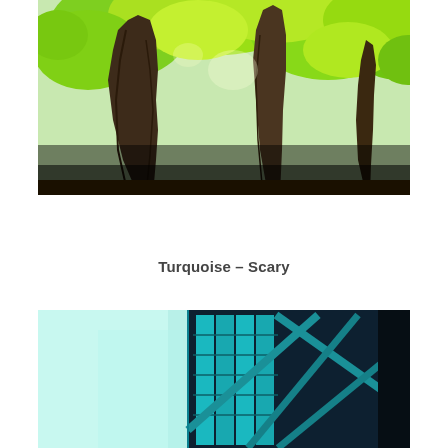[Figure (photo): Upward-looking photograph of tall forest trees with bright green foliage canopy against a light sky, trunks in dark silhouette]
Turquoise – Scary
[Figure (photo): Photograph of a modern building exterior with teal/turquoise glass panels and dark structural cross-bracing, viewed from below at an angle]